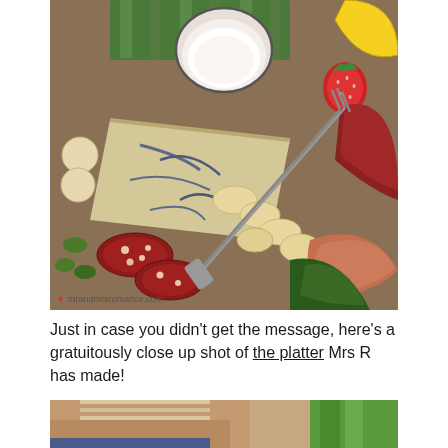[Figure (photo): Close-up shot of a charcuterie/cheese platter featuring blue cheese, crackers, salami, prosciutto, asparagus, strawberry, olives, lemon wedge, a small bowl of dip/cream, and a cheese fork. Watermark reads 'mrandmrsromance.com'.]
Just in case you didn't get the message, here's a gratuitously close up shot of the platter Mrs R has made!
[Figure (photo): Partial photo of a man's face and upper body, with something green visible on the right side.]